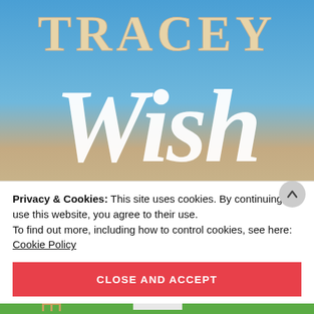[Figure (illustration): Book cover image with gradient sky background (blue to sandy beige). Large decorative text reads 'TRACEY' in sandy/tan serif letters at top, and 'Wish' in large white cursive script below.]
Privacy & Cookies: This site uses cookies. By continuing to use this website, you agree to their use.
To find out more, including how to control cookies, see here: Cookie Policy
[Figure (illustration): Red button with white bold uppercase text 'CLOSE AND ACCEPT']
[Figure (illustration): Bottom scene snippet showing green grass and a building/house illustration]